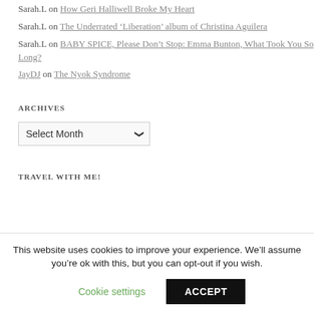Sarah.L on How Geri Halliwell Broke My Heart
Sarah.L on The Underrated ‘Liberation’ album of Christina Aguilera
Sarah.L on BABY SPICE, Please Don’t Stop: Emma Bunton, What Took You So Long?
JayDJ on The Nyok Syndrome
ARCHIVES
Select Month (dropdown)
TRAVEL WITH ME!
This website uses cookies to improve your experience. We’ll assume you’re ok with this, but you can opt-out if you wish.
Cookie settings | ACCEPT